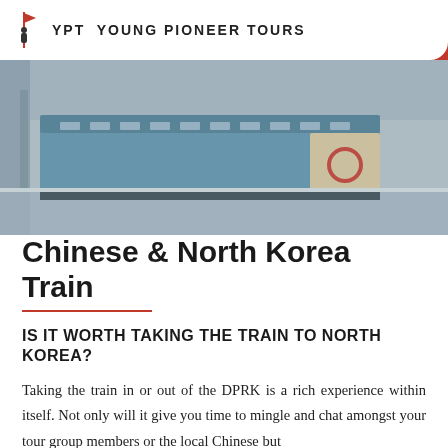YPT YOUNG PIONEER TOURS
[Figure (photo): A blue and cream colored train at a station platform, partially blurred background showing station structure]
Chinese & North Korea Train
IS IT WORTH TAKING THE TRAIN TO NORTH KOREA?
Taking the train in or out of the DPRK is a rich experience within itself. Not only will it give you time to mingle and chat amongst your tour group members or the local Chinese but